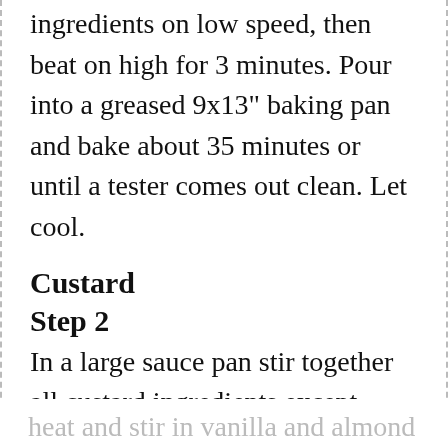ingredients on low speed, then beat on high for 3 minutes. Pour into a greased 9x13" baking pan and bake about 35 minutes or until a tester comes out clean. Let cool.
Custard
Step 2
In a large sauce pan stir together all custard ingredients except vanilla and almond extracts over medium heat. Continue stirring and bring to a boil. Let boil for one minute. Remove from heat and stir in vanilla and almond